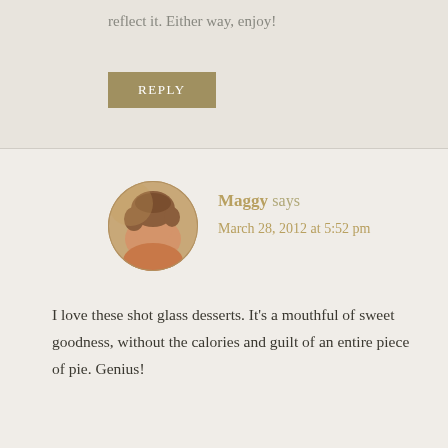reflect it. Either way, enjoy!
REPLY
[Figure (photo): Circular avatar photo of Maggy, a woman with short curly hair]
Maggy says
March 28, 2012 at 5:52 pm
I love these shot glass desserts. It's a mouthful of sweet goodness, without the calories and guilt of an entire piece of pie. Genius!
REPLY